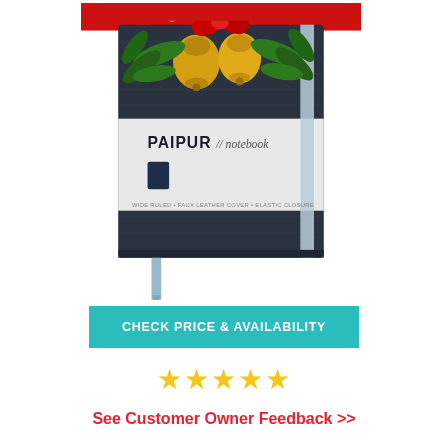[Figure (photo): PAIPUR notebook product photo with Christmas decorations (golden bells, red bow, green holly) on top, dark navy hardcover notebook with white label band showing PAIPUR // notebook branding, light blue elastic band and bookmark ribbon]
[Figure (other): Teal/turquoise button reading CHECK PRICE & AVAILABILITY in white bold uppercase letters]
★★★★★
See Customer Owner Feedback >>